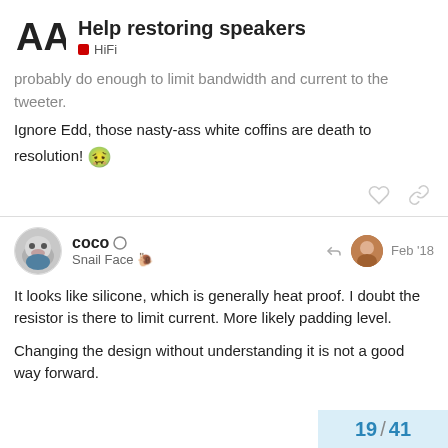Help restoring speakers — HiFi
probably do enough to limit bandwidth and current to the tweeter.
Ignore Edd, those nasty-ass white coffins are death to resolution! 🤢
coco · Snail Face · Feb '18
It looks like silicone, which is generally heat proof. I doubt the resistor is there to limit current. More likely padding level.
Changing the design without understanding it is not a good way forward.
19 / 41